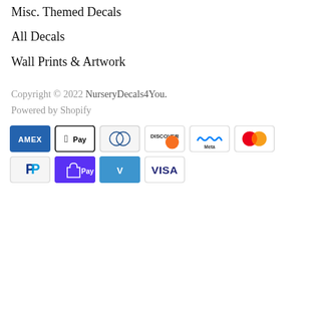Misc. Themed Decals
All Decals
Wall Prints & Artwork
Copyright © 2022 NurseryDecals4You. Powered by Shopify
[Figure (infographic): Payment method icons: American Express, Apple Pay, Diners Club, Discover, Meta Pay, Mastercard (top row); PayPal, Shop Pay, Venmo, Visa (bottom row)]